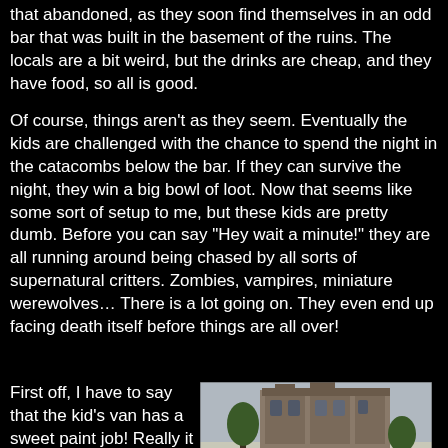that abandoned, as they soon find themselves in an odd bar that was built in the basement of the ruins. The locals are a bit weird, but the drinks are cheap, and they have food, so all is good.
Of course, things aren't as they seem. Eventually the kids are challenged with the chance to spend the night in the catacombs below the bar. If they can survive the night, they win a big bowl of loot. Now that seems like some sort of setup to me, but these kids are pretty dumb. Before you can say "Hey wait a minute!" they are all running around being chased by all sorts of supernatural critters. Zombies, vampires, miniature werewolves… There is a lot going on. They even end up facing death itself before things are all over!
First off, I have to say that the kid's van has a sweet paint job! Really it kicks much ass! Now onto the serious stuff.
[Figure (photo): A colorful painted van parked on a street in front of a large building, with trees visible in the background.]